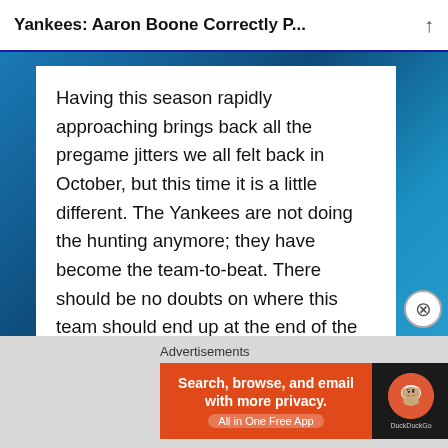Yankees: Aaron Boone Correctly P...
Having this season rapidly approaching brings back all the pregame jitters we all felt back in October, but this time it is a little different. The Yankees are not doing the hunting anymore; they have become the team-to-beat. There should be no doubts on where this team should end up at the end of the year and with a deep roster and coaching staff led by our “savage” we will get it done.
Advertisements
[Figure (screenshot): DuckDuckGo advertisement banner: orange background with text 'Search, browse, and email with more privacy. All in One Free App' and DuckDuckGo logo on dark background]